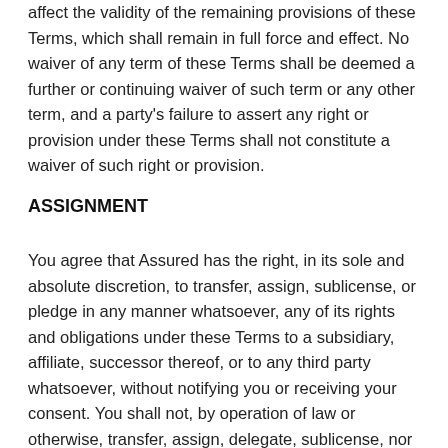affect the validity of the remaining provisions of these Terms, which shall remain in full force and effect. No waiver of any term of these Terms shall be deemed a further or continuing waiver of such term or any other term, and a party's failure to assert any right or provision under these Terms shall not constitute a waiver of such right or provision.
ASSIGNMENT
You agree that Assured has the right, in its sole and absolute discretion, to transfer, assign, sublicense, or pledge in any manner whatsoever, any of its rights and obligations under these Terms to a subsidiary, affiliate, successor thereof, or to any third party whatsoever, without notifying you or receiving your consent. You shall not, by operation of law or otherwise, transfer, assign, delegate, sublicense, nor pledge in any manner